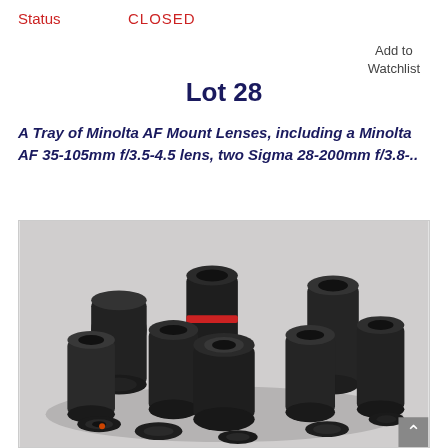Status   CLOSED
Add to Watchlist
Lot 28
A Tray of Minolta AF Mount Lenses, including a Minolta AF 35-105mm f/3.5-4.5 lens, two Sigma 28-200mm f/3.8-..
[Figure (photo): A collection of multiple black camera lenses (Minolta AF Mount and Sigma lenses) piled together on a gray background, with several lens caps scattered around them.]